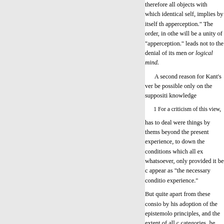therefore all objects with which identical self, implies by itself th apperception." The order, in othe will be a unity of "apperception." leads not to the denial of its men or logical mind.

A second reason for Kant's ver be possible only on the suppositi knowledge

1 For a criticism of this view,

has to deal were things by thems beyond the present experience, to down the conditions which all ex whatsoever, only provided it be c appear as "the necessary conditio experience."

But quite apart from these consio by his adoption of the epistemolo principles, and the extent of all c categories, he named them after t "which is occupied not so much to be possible a priori." The "tran